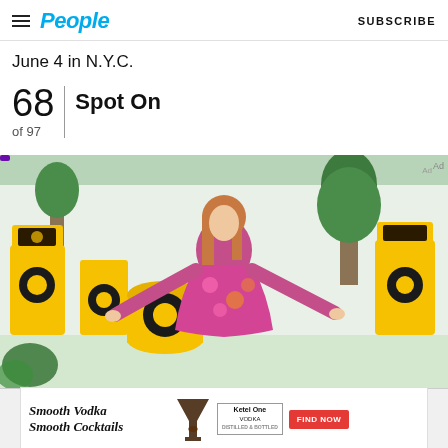People | SUBSCRIBE
June 4 in N.Y.C.
68 of 97 | Spot On
[Figure (photo): Woman in colorful pink and orange patterned dress standing among yellow and black decorative boxes at an event in NYC]
[Figure (photo): Smooth Vodka Smooth Cocktails - Ketel One Vodka advertisement banner with cocktail glass image and Find Now button]